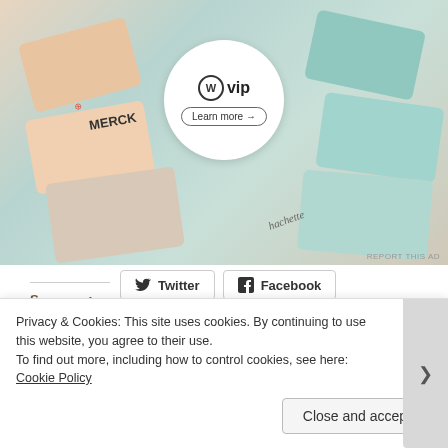[Figure (screenshot): WordPress VIP advertisement banner showing logos of Merck and Hachette among other brand cards, with a central white circle containing the WordPress VIP logo and a 'Learn more →' button]
REPORT THIS AD
Twitter   Facebook
Share this:
Like
2 bloggers like this.
Related
Privacy & Cookies: This site uses cookies. By continuing to use this website, you agree to their use.
To find out more, including how to control cookies, see here: Cookie Policy
Close and accept